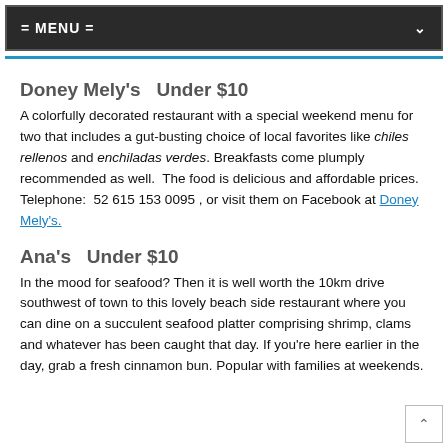= MENU =
Doney Mely's  Under $10
A colorfully decorated restaurant with a special weekend menu for two that includes a gut-busting choice of local favorites like chiles rellenos and enchiladas verdes. Breakfasts come plumply recommended as well.  The food is delicious and affordable prices.  Telephone:  52 615 153 0095 , or visit them on Facebook at Doney Mely's.
Ana's  Under $10
In the mood for seafood? Then it is well worth the 10km drive southwest of town to this lovely beach side restaurant where you can dine on a succulent seafood platter comprising shrimp, clams and whatever has been caught that day. If you're here earlier in the day, grab a fresh cinnamon bun. Popular with families at weekends.